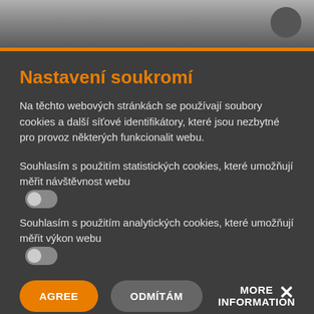[Figure (screenshot): Top grey gradient background area with a circular element at top right and an orange dividing bar]
Nastavení soukromí
Na těchto webových stránkách se používají soubory cookies a další síťové identifikátory, které jsou nezbytné pro provoz některých funkcionalit webu.
Souhlasím s použitím statistických cookies, které umožňují měřit návštěvnost webu [toggle off]
Souhlasím s použitím analytických cookies, které umožňují měřit výkon webu [toggle off]
AGREE
ODMÍTÁM
MORE INFORMATION
×